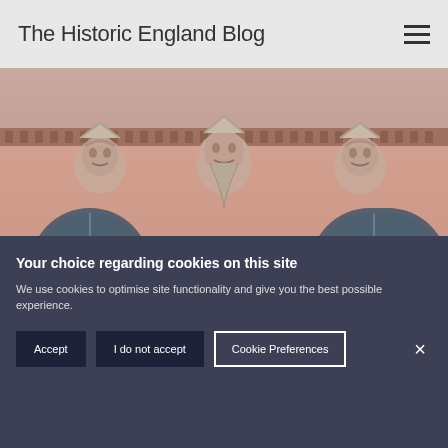The Historic England Blog
[Figure (photo): Exterior of a pink neoclassical building with ornamental stone faces/keystones above arched windows, showing architectural details including decorative friezes]
A BRIEF INTRODUCTION TO
ARCHITECTURE
HISTORIC PHOTOGRAPHY
PARKS AND GARDENS
The Story of Pioneering Businesswoman Eleanor Coade
BY HISTORIC ENGLAND
COMMENTS 3
Your choice regarding cookies on this site
We use cookies to optimise site functionality and give you the best possible experience.
Accept | I do not accept | Cookie Preferences | ×